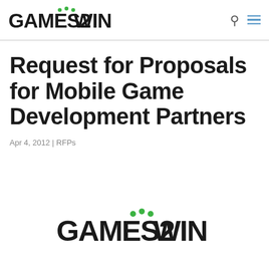GAMES2WIN
Request for Proposals for Mobile Game Development Partners
Apr 4, 2012 | RFPs
[Figure (logo): Games2Win logo in large format centered at bottom of page]